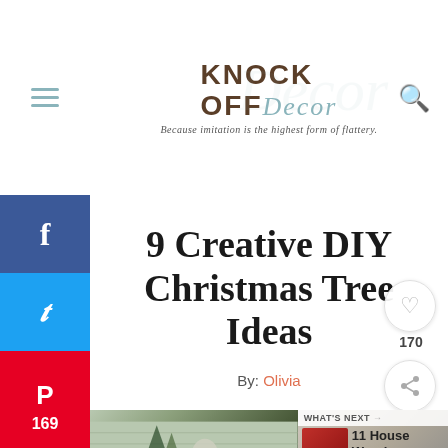[Figure (logo): Knock Off Decor logo with tagline 'Because imitation is the highest form of flattery.']
9 Creative DIY Christmas Tree Ideas
By: Olivia
169
SHARES
[Figure (photo): Article hero image showing a DIY Christmas tree arrangement with greenery and decorative elements against a wood plank background]